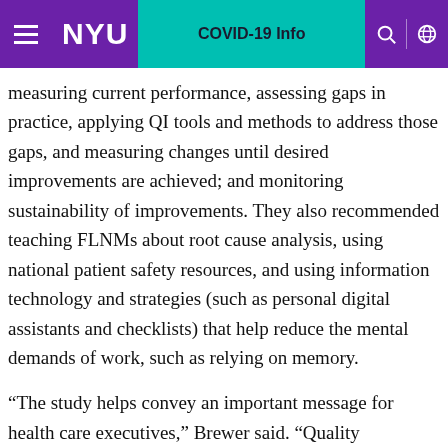NYU | COVID-19 Info
measuring current performance, assessing gaps in practice, applying QI tools and methods to address those gaps, and measuring changes until desired improvements are achieved; and monitoring sustainability of improvements. They also recommended teaching FLNMs about root cause analysis, using national patient safety resources, and using information technology and strategies (such as personal digital assistants and checklists) that help reduce the mental demands of work, such as relying on memory.
“The study helps convey an important message for health care executives,” Brewer said. “Quality improvement efforts don’t rely solely on nurses and other providers; they also rely on managers. And even in hospitals where front-line nurse managers feel encouraged to lead on quality improvement, and where they feel